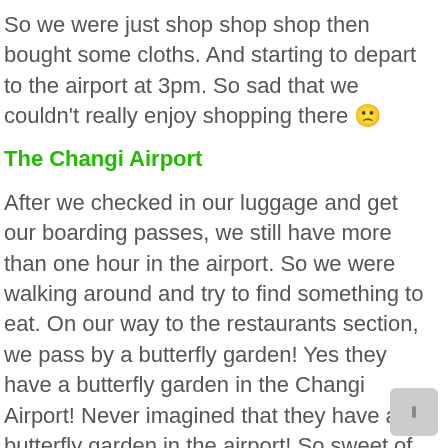So we were just shop shop shop then bought some cloths. And starting to depart to the airport at 3pm. So sad that we couldn't really enjoy shopping there 😟
The Changi Airport
After we checked in our luggage and get our boarding passes, we still have more than one hour in the airport. So we were walking around and try to find something to eat. On our way to the restaurants section, we pass by a butterfly garden! Yes they have a butterfly garden in the Changi Airport! Never imagined that they have a butterfly garden in the airport! So sweet of them, tourist couldn't get bored in the airport while waiting for their flight!